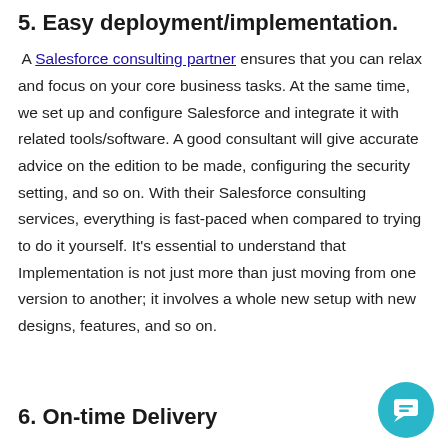5. Easy deployment/implementation.
A Salesforce consulting partner ensures that you can relax and focus on your core business tasks. At the same time, we set up and configure Salesforce and integrate it with related tools/software. A good consultant will give accurate advice on the edition to be made, configuring the security setting, and so on. With their Salesforce consulting services, everything is fast-paced when compared to trying to do it yourself. It's essential to understand that Implementation is not just more than just moving from one version to another; it involves a whole new setup with new designs, features, and so on.
6. On-time Delivery